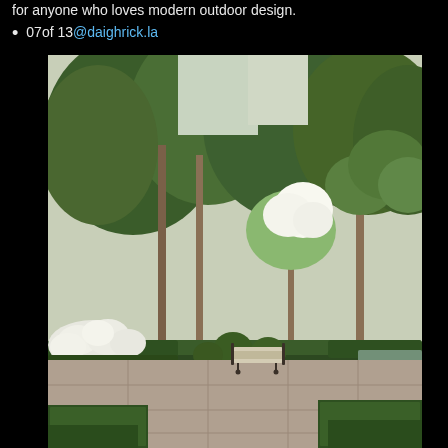for anyone who loves modern outdoor design.
07of 13@daighrick.la
[Figure (photo): A beautifully landscaped formal garden with a stone patio, a lounge chair in the center, neatly trimmed boxwood hedges, blooming white hydrangeas, topiary spheres, a reflecting pool on the right, and tall lush trees in the background.]